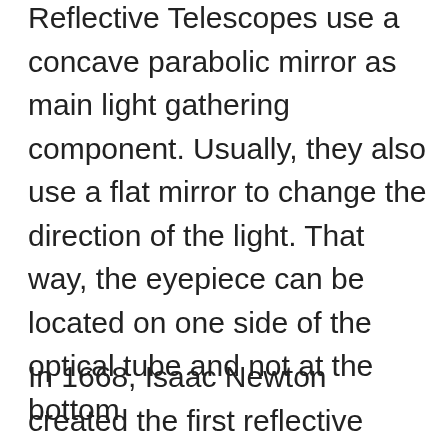Reflective Telescopes use a concave parabolic mirror as main light gathering component. Usually, they also use a flat mirror to change the direction of the light. That way, the eyepiece can be located on one side of the optical tube and not at the bottom.
In 1668, Isaac Newton created the first reflective Telescope. This invention solved the color distortion